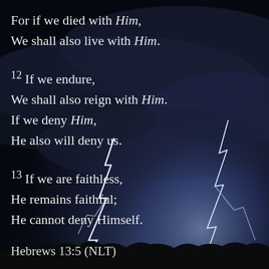[Figure (photo): Dark stormy sky with dramatic lightning strikes illuminating clouds; silhouetted treeline at the bottom right. Background image for a Bible verse quote graphic.]
For if we died with Him, We shall also live with Him.
12 If we endure, We shall also reign with Him. If we deny Him, He also will deny us.
13 If we are faithless, He remains faithful; He cannot deny Himself.
Hebrews 13:5 (NLT)